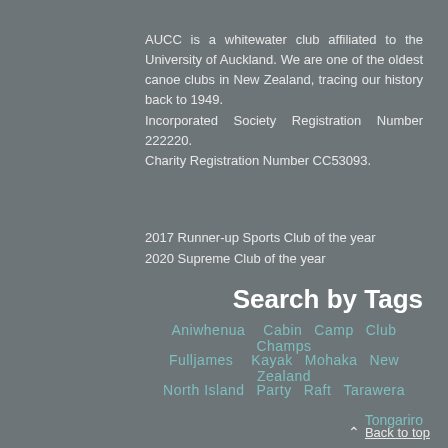AUCC is a whitewater club affiliated to the University of Auckland. We are one of the oldest canoe clubs in New Zealand, tracing our history back to 1949. Incorporated Society Registration Number 222220. Charity Registration Number CC53093.
2017 Runner-up Sports Club of the year
2020 Supreme Club of the year
Search by Tags
Aniwhenua   Cabin   Camp   Club Champs
Fulljames   Kayak   Mohaka   New Zealand
North Island   Party   Raft   Tarawera
Tongariro
Back to top